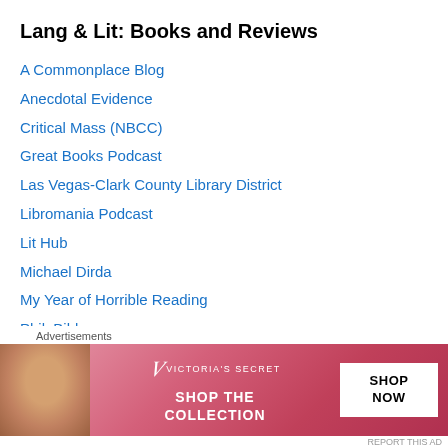Lang & Lit: Books and Reviews
A Commonplace Blog
Anecdotal Evidence
Critical Mass (NBCC)
Great Books Podcast
Las Vegas-Clark County Library District
Libromania Podcast
Lit Hub
Michael Dirda
My Year of Horrible Reading
PhiloBiblos
Pykk
Qwik Lit
The Millions
[Figure (photo): Victoria's Secret advertisement banner with a model and 'Shop the Collection' text and 'Shop Now' button]
Advertisements